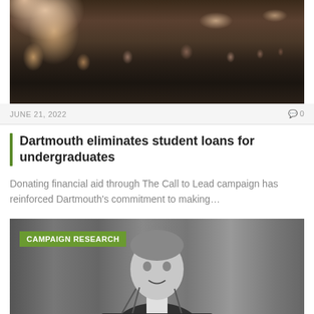[Figure (photo): A person in a light-colored outfit with arms raised, speaking to a crowd in an auditorium setting]
JUNE 21, 2022
0
Dartmouth eliminates student loans for undergraduates
Donating financial aid through The Call to Lead campaign has reinforced Dartmouth's commitment to making…
[Figure (photo): Black and white photo of a man in a tuxedo and bow tie speaking at a presidential podium, gesturing with both hands]
CAMPAIGN RESEARCH